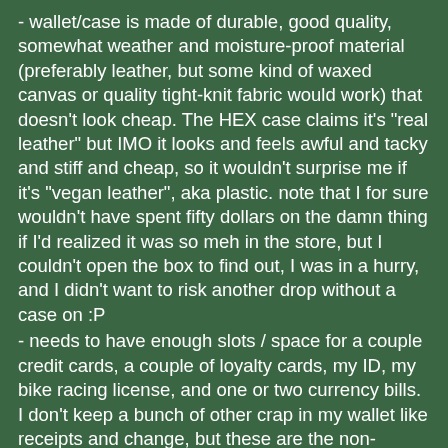- wallet/case is made of durable, good quality, somewhat weather and moisture-proof material (preferably leather, but some kind of waxed canvas or quality tight-knit fabric would work) that doesn't look cheap. The HEX case claims it's "real leather" but IMO it looks and feels awful and tacky and stiff and cheap, so it wouldn't surprise me if it's "vegan leather", aka plastic. note that I for sure wouldn't have spent fifty dollars on the damn thing if I'd realized it was so meh in the store, but I couldn't open the box to find out, I was in a hurry, and I didn't want to risk another drop without a case on :P
- needs to have enough slots / space for a couple credit cards, a couple of loyalty cards, my ID, my bike racing license, and one or two currency bills. I don't keep a bunch of other crap in my wallet like receipts and change, but these are the non-negotiables for both of us.
- needs to be low-profile/minimal and slim enough to easily fit in a pants pocket and/or cycling jersey pocket. Our old wallets are roughly 3.25x5" or 8.5 x 12.5cm which translates to "just fits, barely". Slightly longer and slimmer would be